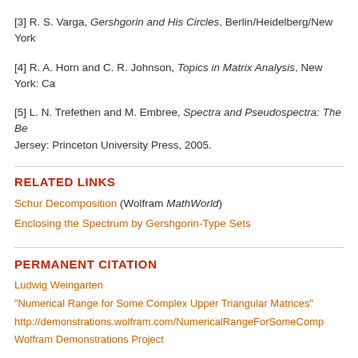[3] R. S. Varga, Gershgorin and His Circles, Berlin/Heidelberg/New York
[4] R. A. Horn and C. R. Johnson, Topics in Matrix Analysis, New York: Ca
[5] L. N. Trefethen and M. Embree, Spectra and Pseudospectra: The Be Jersey: Princeton University Press, 2005.
RELATED LINKS
Schur Decomposition (Wolfram MathWorld)
Enclosing the Spectrum by Gershgorin-Type Sets
PERMANENT CITATION
Ludwig Weingarten
"Numerical Range for Some Complex Upper Triangular Matrices"
http://demonstrations.wolfram.com/NumericalRangeForSomeComp
Wolfram Demonstrations Project